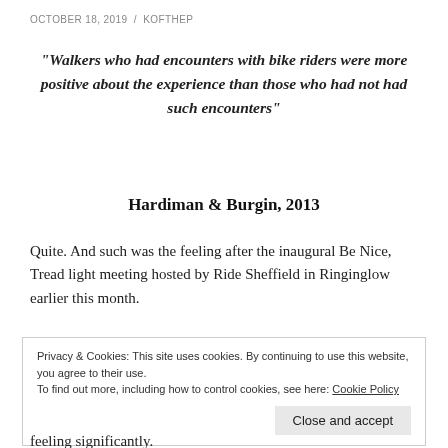OCTOBER 18, 2019  /  KOFTHEP
“Walkers who had encounters with bike riders were more positive about the experience than those who had not had such encounters”
Hardiman & Burgin, 2013
Quite. And such was the feeling after the inaugural Be Nice, Tread light meeting hosted by Ride Sheffield in Ringinglow earlier this month.
Privacy & Cookies: This site uses cookies. By continuing to use this website, you agree to their use.
To find out more, including how to control cookies, see here: Cookie Policy
Close and accept
feeling significantly.